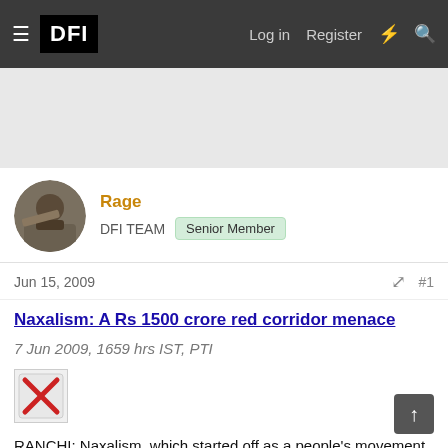DFI | Log in | Register
[Figure (photo): User avatar photo of a person with a rifle/scoped weapon]
Rage
DFI TEAM  Senior Member
Jun 15, 2009    #1
Naxalism: A Rs 1500 crore red corridor menace
7 Jun 2009, 1659 hrs IST, PTI
[Figure (illustration): Broken image placeholder icon with red X]
RANCHI: Naxalism, which started off as a people's movement, has now become a nearly Rs 1500 crore organized extortion business in the form of 'levy', police and central security officials